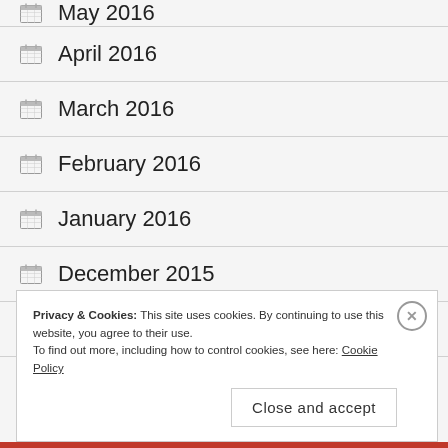May 2016
April 2016
March 2016
February 2016
January 2016
December 2015
November 2015
Privacy & Cookies: This site uses cookies. By continuing to use this website, you agree to their use.
To find out more, including how to control cookies, see here: Cookie Policy
Close and accept